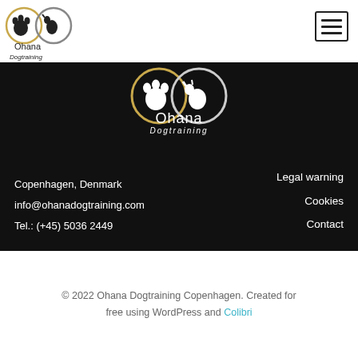[Figure (logo): Ohana Dogtraining logo in top navigation bar - paw print and dog silhouette in infinity-style circles, with text 'Ohana Dogtraining']
[Figure (other): Hamburger menu icon (three horizontal lines in a square border) in top-right navigation]
[Figure (logo): Ohana Dogtraining logo centered on dark black background - white paw print and dog silhouette in orange/white infinity circles, with white text 'Ohana Dogtraining']
Copenhagen, Denmark
info@ohanadogtraining.com
Tel.: (+45) 5036 2449
Legal warning
Cookies
Contact
© 2022 Ohana Dogtraining Copenhagen. Created for free using WordPress and Colibri